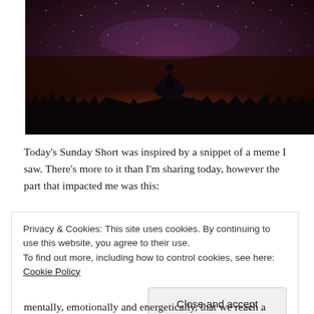[Figure (photo): Silhouette of a person standing on a rock under a star-filled night sky with orange and purple hues — astrophotography style image.]
Today's Sunday Short was inspired by a snippet of a meme I saw. There's more to it than I'm sharing today, however the part that impacted me was this:
Privacy & Cookies: This site uses cookies. By continuing to use this website, you agree to their use.
To find out more, including how to control cookies, see here: Cookie Policy
Close and accept
mentally, emotionally and energetically, that we reach a